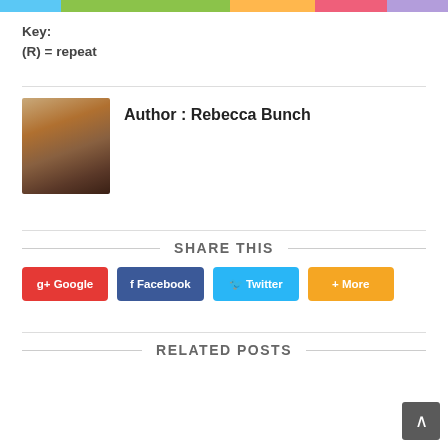[Figure (other): Colored horizontal bar with segments: blue, green, orange, pink, purple]
Key:
(R) = repeat
[Figure (photo): Author photo of Rebecca Bunch - woman with long dark hair in warm lighting]
Author : Rebecca Bunch
SHARE THIS
g+ Google
f Facebook
Twitter
+ More
RELATED POSTS